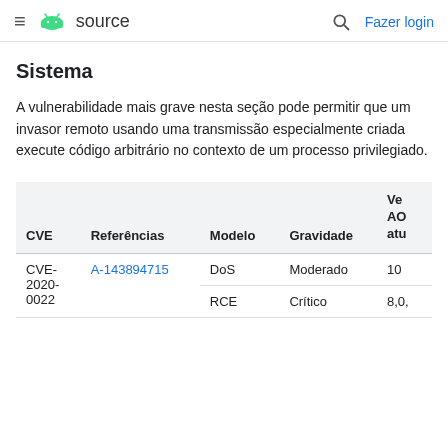≡ 🤖 source   🔍 Fazer login
Sistema
A vulnerabilidade mais grave nesta seção pode permitir que um invasor remoto usando uma transmissão especialmente criada execute código arbitrário no contexto de um processo privilegiado.
| CVE | Referências | Modelo | Gravidade | Ver
AO
atu |
| --- | --- | --- | --- | --- |
| CVE-2020-0022 | A-143894715 | DoS | Moderado | 10 |
|  |  | RCE | Crítico | 8,0, |